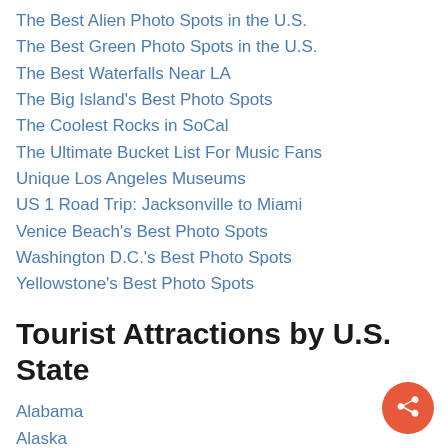The Best Alien Photo Spots in the U.S.
The Best Green Photo Spots in the U.S.
The Best Waterfalls Near LA
The Big Island's Best Photo Spots
The Coolest Rocks in SoCal
The Ultimate Bucket List For Music Fans
Unique Los Angeles Museums
US 1 Road Trip: Jacksonville to Miami
Venice Beach's Best Photo Spots
Washington D.C.'s Best Photo Spots
Yellowstone's Best Photo Spots
Tourist Attractions by U.S. State
Alabama
Alaska
Arizona
Arkansas
California
Colorado
Connecticut
Del...